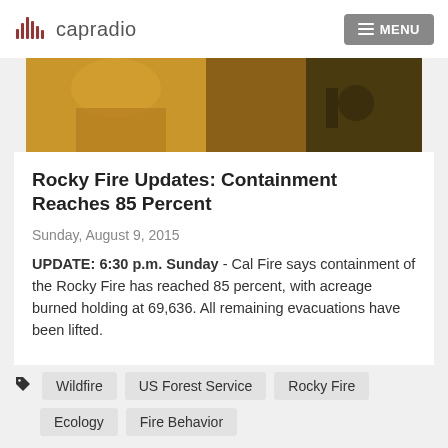capradio   MENU
[Figure (photo): Close-up photo of a firefighter in yellow protective gear, partially visible with equipment in a field setting]
Rocky Fire Updates: Containment Reaches 85 Percent
Sunday, August 9, 2015
UPDATE: 6:30 p.m. Sunday - Cal Fire says containment of the Rocky Fire has reached 85 percent, with acreage burned holding at 69,636. All remaining evacuations have been lifted.
Wildfire
US Forest Service
Rocky Fire
Ecology
Fire Behavior